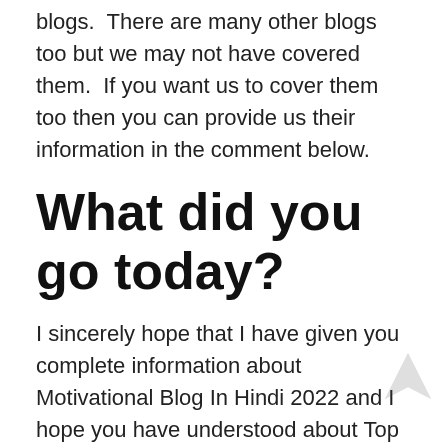blogs.  There are many other blogs too but we may not have covered them.  If you want us to cover them too then you can provide us their information in the comment below.
What did you go today?
I sincerely hope that I have given you complete information about Motivational Blog In Hindi 2022 and I hope you have understood about Top Hindi Blogs of India.
I request all of you readers that you also share this information in your neighborhood, relatives, your friends, so that there will be awareness among us and everyone will benefit a lot from it.  I need your cooperation so that I can pass more new...